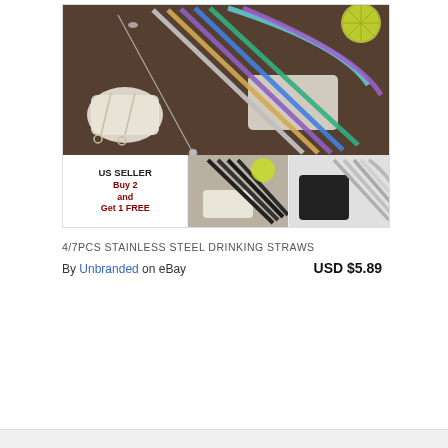[Figure (photo): Product listing image for stainless steel drinking straws showing rainbow/multi-colored straws fanned out on a brown surface with a white cloth pouch. Below are thumbnails: left with 'US SELLER Buy 2 and Get 1 FREE' text, middle showing black straws with white pouch, right showing silver straws with black pouch.]
4/7PCS STAINLESS STEEL DRINKING STRAWS
By Unbranded on eBay   USD $5.89